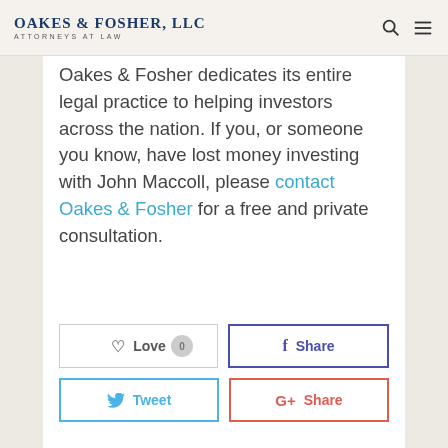Oakes & Fosher, LLC — Attorneys at Law
Oakes & Fosher dedicates its entire legal practice to helping investors across the nation. If you, or someone you know, have lost money investing with John Maccoll, please contact Oakes & Fosher for a free and private consultation.
[Figure (other): Social sharing buttons: Love (0), Share (Facebook), Tweet, Share (Google+)]